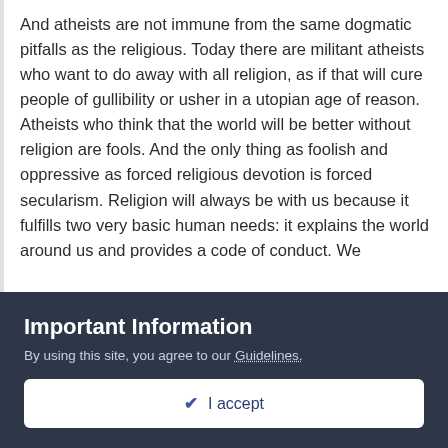And atheists are not immune from the same dogmatic pitfalls as the religious. Today there are militant atheists who want to do away with all religion, as if that will cure people of gullibility or usher in a utopian age of reason. Atheists who think that the world will be better without religion are fools. And the only thing as foolish and oppressive as forced religious devotion is forced secularism. Religion will always be with us because it fulfills two very basic human needs: it explains the world around us and provides a code of conduct. We donâââââ€š¬Å¡¬âââââ€š¬Å¾¢t have to get those things from religion, but most people do.
People find what they are looking for in religion. Those that
Important Information
By using this site, you agree to our Guidelines.
✔ I accept